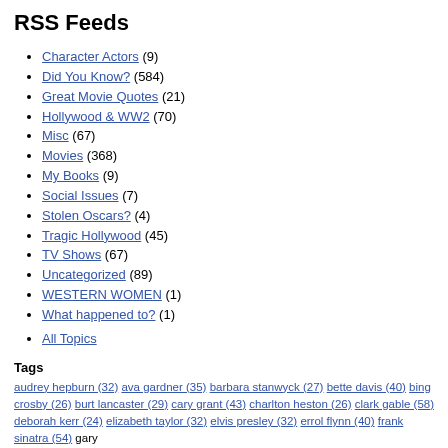RSS Feeds
Character Actors (9)
Did You Know? (584)
Great Movie Quotes (21)
Hollywood & WW2 (70)
Misc (67)
Movies (368)
My Books (9)
Social Issues (7)
Stolen Oscars? (4)
Tragic Hollywood (45)
TV Shows (67)
Uncategorized (89)
WESTERN WOMEN (1)
What happened to? (1)
All Topics
Tags
audrey hepburn (32) ava gardner (35) barbara stanwyck (27) bette davis (40) bing crosby (26) burt lancaster (29) cary grant (43) charlton heston (26) clark gable (58) deborah kerr (24) elizabeth taylor (32) elvis presley (32) errol flynn (40) frank sinatra (54) gary